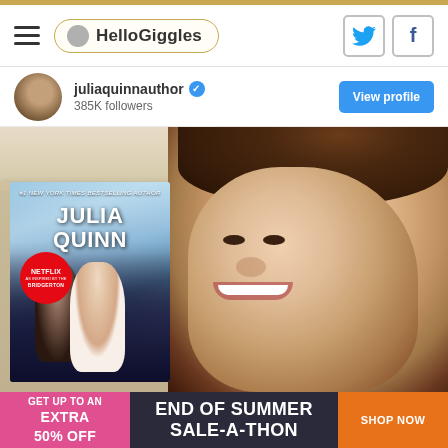HelloGiggles
juliaquinnauthor ✓
385K followers
View profile
[Figure (photo): Instagram-style photo of Julia Quinn author holding a Bridgerton book cover (Julia Quinn, Netflix/Bridgerton tie-in edition), smiling selfie with brown hair.]
[Figure (infographic): Advertisement banner: GET UP TO AN EXTRA 50% OFF | END OF SUMMER SALE-A-THON | SHOP NOW]